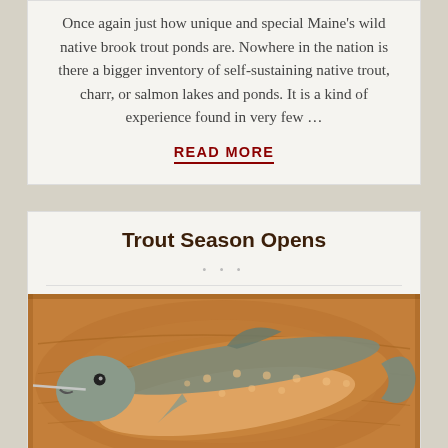Once again just how unique and special Maine's wild native brook trout ponds are. Nowhere in the nation is there a bigger inventory of self-sustaining native trout, charr, or salmon lakes and ponds. It is a kind of experience found in very few …
READ MORE
Trout Season Opens
[Figure (photo): A brook trout (fish) lying on a wooden surface, shown from the side. The fish has a brownish-orange belly and silvery-grey back with small spots. A thin stick or pin is placed near its mouth.]